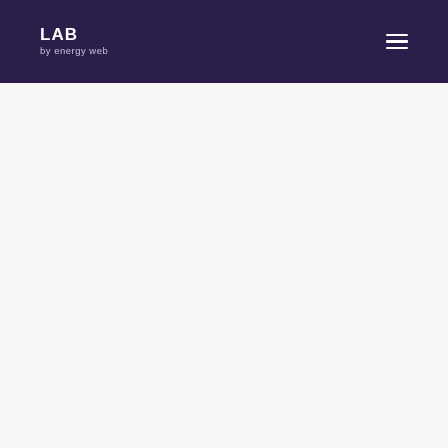LAB by energy web
[Figure (other): Hamburger menu icon (three horizontal white lines) in the top-right corner of the header]